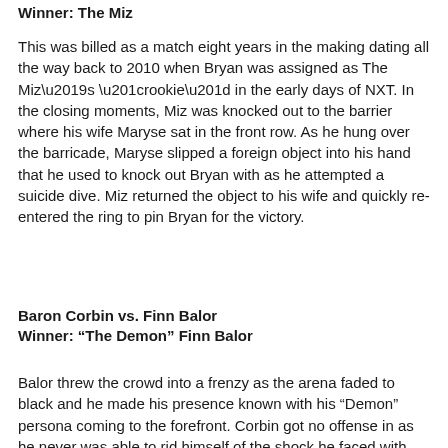Winner: The Miz
This was billed as a match eight years in the making dating all the way back to 2010 when Bryan was assigned as The Miz’s “rookie” in the early days of NXT. In the closing moments, Miz was knocked out to the barrier where his wife Maryse sat in the front row. As he hung over the barricade, Maryse slipped a foreign object into his hand that he used to knock out Bryan with as he attempted a suicide dive. Miz returned the object to his wife and quickly re-entered the ring to pin Bryan for the victory.
Baron Corbin vs. Finn Balor
Winner: “The Demon” Finn Balor
Balor threw the crowd into a frenzy as the arena faded to black and he made his presence known with his “Demon” persona coming to the forefront. Corbin got no offense in as he never was able to rid himself of the shock he faced with the presence of the Demon. Balor made short order of “The Constable” and finished him off with the Coup de Grace.